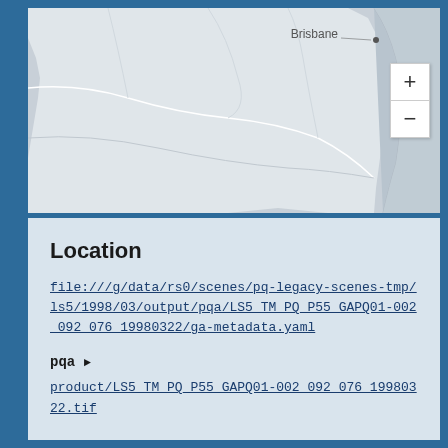[Figure (map): Map showing region near Brisbane, Australia. Light gray land mass with white/light outlines for roads/borders. Darker gray for ocean/sea on the right. Brisbane labeled with a dot in upper right area. Zoom controls (+/-) visible on the right side.]
Location
file:///g/data/rs0/scenes/pq-legacy-scenes-tmp/ls5/1998/03/output/pqa/LS5_TM_PQ_P55_GAPQ01-002_092_076_19980322/ga-metadata.yaml
pqa ▶
product/LS5_TM_PQ_P55_GAPQ01-002_092_076_19980322.tif